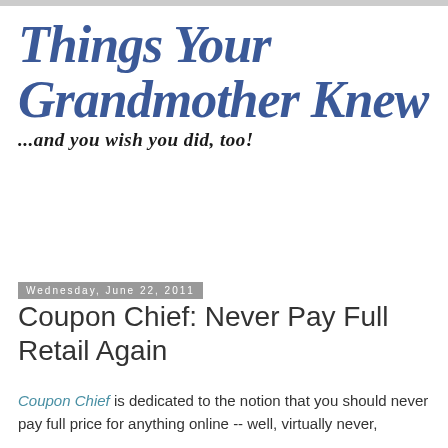[Figure (logo): Blog logo: 'Things Your Grandmother Knew' in large italic bold blue script, with subtitle '...and you wish you did, too!' in bold italic black]
Wednesday, June 22, 2011
Coupon Chief: Never Pay Full Retail Again
Coupon Chief is dedicated to the notion that you should never pay full price for anything online -- well, virtually never,